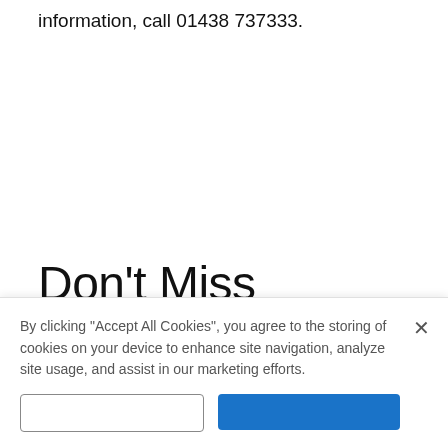information, call 01438 737333.
Don't Miss
[Figure (photo): Outdoor landscape photo showing mountains or hills with a reddish-orange structure and blue sky with clouds]
Construction on 250 new homes near Stevenage to begin in autumn
By clicking “Accept All Cookies”, you agree to the storing of cookies on your device to enhance site navigation, analyze site usage, and assist in our marketing efforts.